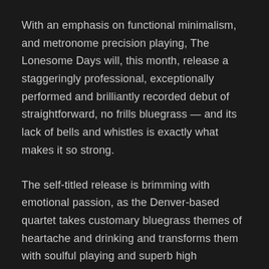With an emphasis on functional minimalism, and metronome precision playing, The Lonesome Days will, this month, release a staggeringly professional, exceptionally performed and brilliantly recorded debut of straightforward, no frills bluegrass — and its lack of bells and whistles is exactly what makes it so strong.
The self-titled release is brimming with emotional passion, as the Denver-based quartet takes customary bluegrass themes of heartache and drinking and transforms them with soulful playing and superb high lonesome singing.